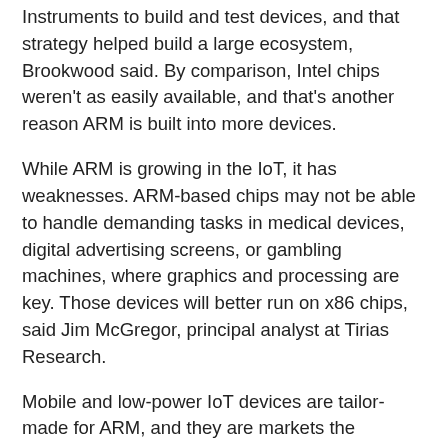Instruments to build and test devices, and that strategy helped build a large ecosystem, Brookwood said. By comparison, Intel chips weren't as easily available, and that's another reason ARM is built into more devices.
While ARM is growing in the IoT, it has weaknesses. ARM-based chips may not be able to handle demanding tasks in medical devices, digital advertising screens, or gambling machines, where graphics and processing are key. Those devices will better run on x86 chips, said Jim McGregor, principal analyst at Tirias Research.
Mobile and low-power IoT devices are tailor-made for ARM, and they are markets the company should continue chasing, McGregor said. For SoftBank, those markets are low-hanging fruit that will generate instant revenue.
ARM chips could also find their way into storage and